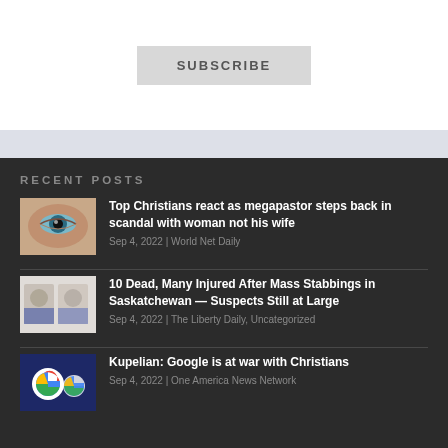[Figure (other): Subscribe button on white background]
RECENT POSTS
Top Christians react as megapastor steps back in scandal with woman not his wife | Sep 4, 2022 | World Net Daily
10 Dead, Many Injured After Mass Stabbings in Saskatchewan — Suspects Still at Large | Sep 4, 2022 | The Liberty Daily, Uncategorized
Kupelian: Google is at war with Christians | Sep 4, 2022 | One America News Network